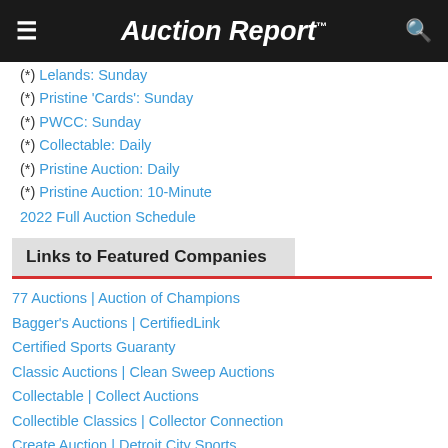Auction Report™
(*) Lelands: Sunday
(*) Pristine 'Cards': Sunday
(*) PWCC: Sunday
(*) Collectable: Daily
(*) Pristine Auction: Daily
(*) Pristine Auction: 10-Minute
2022 Full Auction Schedule
Links to Featured Companies
77 Auctions | Auction of Champions
Bagger's Auctions | CertifiedLink
Certified Sports Guaranty
Classic Auctions | Clean Sweep Auctions
Collectable | Collect Auctions
Collectible Classics | Collector Connection
Create Auction | Detroit City Sports
Down to the Wire | Dutch Auction Shop
Evans Archive | Fanatics Auctions
Golden Age Golf Auctions | Goldin Auctions
Gotta Have Rock & Roll | Grey Flannel